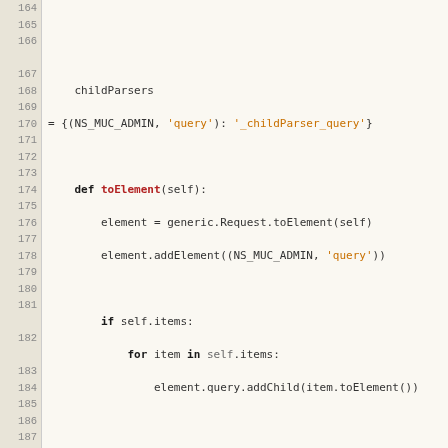[Figure (screenshot): Python source code snippet showing lines 164-193 with line numbers on the left column and code on the right. Code includes methods toElement and _childParser_query and class DestructionRequest definition with docstring.]